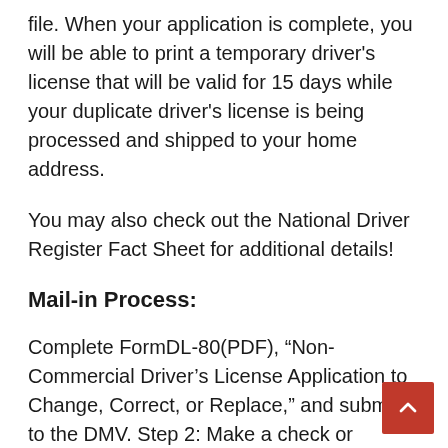file. When your application is complete, you will be able to print a temporary driver's license that will be valid for 15 days while your duplicate driver's license is being processed and shipped to your home address.
You may also check out the National Driver Register Fact Sheet for additional details!
Mail-in Process:
Complete FormDL-80(PDF), “Non-Commercial Driver’s License Application to Change, Correct, or Replace,” and submit it to the DMV. Step 2: Make a check or money order payable to the Pennsylvania Department of Transportation for the appropriate charge.